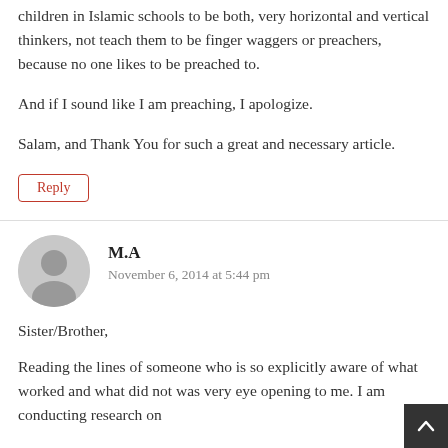children in Islamic schools to be both, very horizontal and vertical thinkers, not teach them to be finger waggers or preachers, because no one likes to be preached to.
And if I sound like I am preaching, I apologize.
Salam, and Thank You for such a great and necessary article.
Reply
M.A
November 6, 2014 at 5:44 pm
Sister/Brother,
Reading the lines of someone who is so explicitly aware of what worked and what did not was very eye opening to me. I am conducting research on